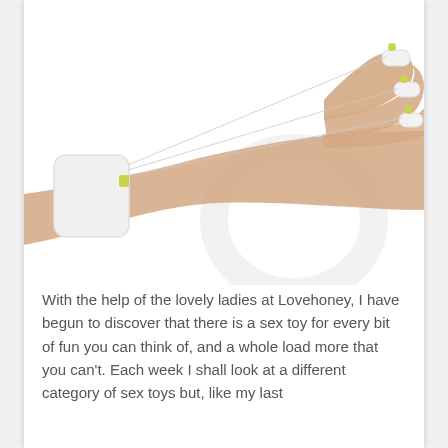[Figure (photo): A woman's hand and wrist extended against a white background. A white wrist cuff/band is on the wrist, and small white finger rings with yellow-green accents are on several fingertips, connected by thin wires or strings. A faint circular disc shape is visible in the lower right portion of the image.]
With the help of the lovely ladies at Lovehoney, I have begun to discover that there is a sex toy for every bit of fun you can think of, and a whole load more that you can't. Each week I shall look at a different category of sex toys but, like my last